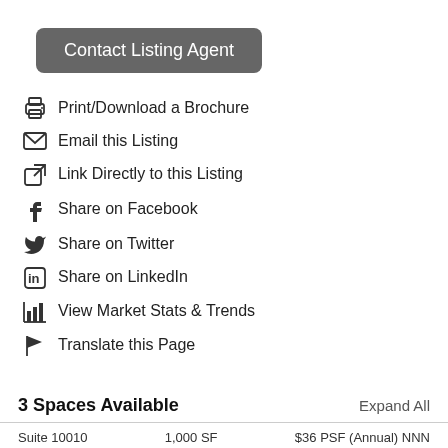Contact Listing Agent
Print/Download a Brochure
Email this Listing
Link Directly to this Listing
Share on Facebook
Share on Twitter
Share on LinkedIn
View Market Stats & Trends
Translate this Page
3 Spaces Available
Expand All
Suite 10010    1,000 SF    $36 PSF (Annual) NNN